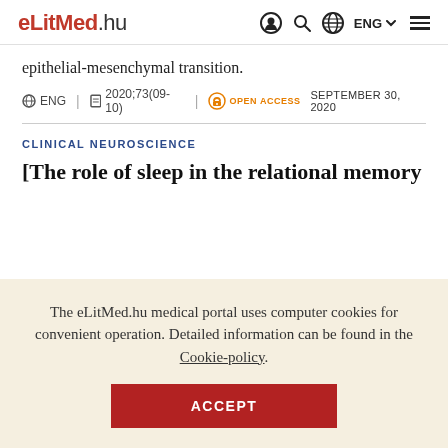eLitMed.hu — ENG — navigation header
epithelial-mesenchymal transition.
ENG | 2020;73(09-10) | OPEN ACCESS | SEPTEMBER 30, 2020
CLINICAL NEUROSCIENCE
[The role of sleep in the relational memory
The eLitMed.hu medical portal uses computer cookies for convenient operation. Detailed information can be found in the Cookie-policy.